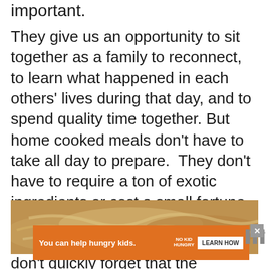important.
They give us an opportunity to sit together as a family to reconnect, to learn what happened in each others' lives during that day, and to spend quality time together. But home cooked meals don't have to take all day to prepare.  They don't have to require a ton of exotic ingredients or cost a small fortune either.  Home cooked meals can be simple, but still full of flavor.  And don't quickly forget that the connections we make over that meal are far more important than what's on the table.  It's what's around the table that matters.
[Figure (photo): Blurred close-up photo of food, appears to show noodles or pasta dish in a warm brown/orange toned bowl or pan.]
[Figure (infographic): Orange advertisement banner reading 'You can help hungry kids.' with No Kid Hungry logo and Learn How button. Close button (X) in upper right. Watermark logo (WWW with degree symbol) at far right.]